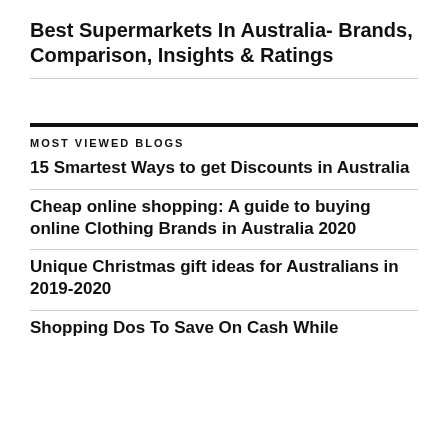Best Supermarkets In Australia- Brands, Comparison, Insights & Ratings
MOST VIEWED BLOGS
15 Smartest Ways to get Discounts in Australia
Cheap online shopping: A guide to buying online Clothing Brands in Australia 2020
Unique Christmas gift ideas for Australians in 2019-2020
Shopping Dos To Save On Cash While